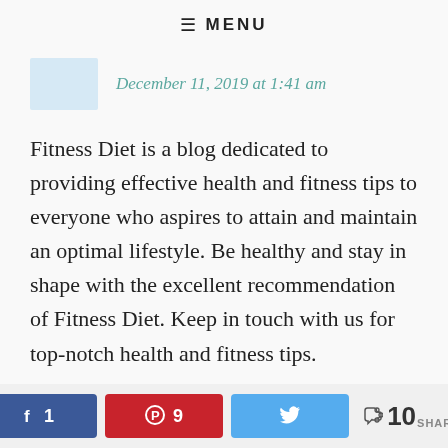≡ MENU
December 11, 2019 at 1:41 am
Fitness Diet is a blog dedicated to providing effective health and fitness tips to everyone who aspires to attain and maintain an optimal lifestyle. Be healthy and stay in shape with the excellent recommendation of Fitness Diet. Keep in touch with us for top-notch health and fitness tips.
Reply
f 1  ⊕ 9  🐦  < 10 SHARES